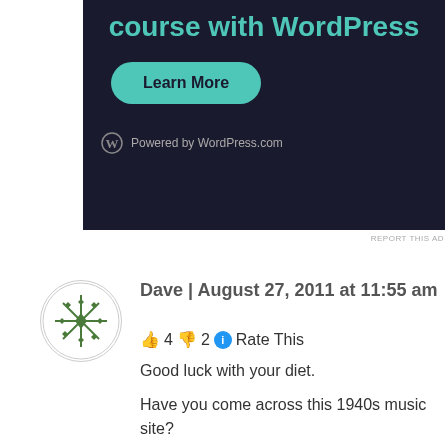[Figure (screenshot): WordPress.com advertisement banner with dark background showing 'course with WordPress' heading, a teal 'Learn More' button, and 'Powered by WordPress.com' text at the bottom]
REPORT THIS AD
[Figure (photo): Circular avatar with a decorative green geometric snowflake/mandala pattern on white background]
Dave | August 27, 2011 at 11:55 am
👍 4 👎 2 ℹ Rate This
Good luck with your diet.
Have you come across this 1940s music site?
http://www.1940sukradio.co.uk/
Quite an interesting place to visit and listen to.
Ebay in Britain has a baker selling fresh yeast